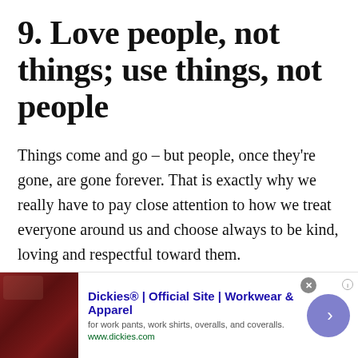9. Love people, not things; use things, not people
Things come and go – but people, once they're gone, are gone forever. That is exactly why we really have to pay close attention to how we treat everyone around us and choose always to be kind, loving and respectful toward them.
[Figure (screenshot): An advertisement banner for Dickies showing a red leather couch image on the left, Dickies brand name and tagline in the center, and a purple arrow button on the right.]